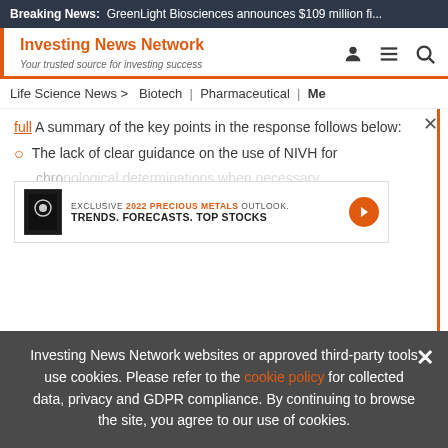Breaking News: GreenLight Biosciences announces $109 million fi...
Investing News Network
Your trusted source for investing success
Life Science News > Biotech | Pharmaceutical | Me
... A summary of the key points in the response follows below:
The lack of clear guidance on the use of NIVH for chro... and often confusing guidance on which not to
[Figure (infographic): Ad banner: EXCLUSIVE 2022 PRECIOUS METALS OUTLOOK. TRENDS. FORECASTS. TOP STOCKS. with orange arrow button and book image.]
Investing News Network websites or approved third-party tools use cookies. Please refer to the cookie policy for collected data, privacy and GDPR compliance. By continuing to browse the site, you agree to our use of cookies.